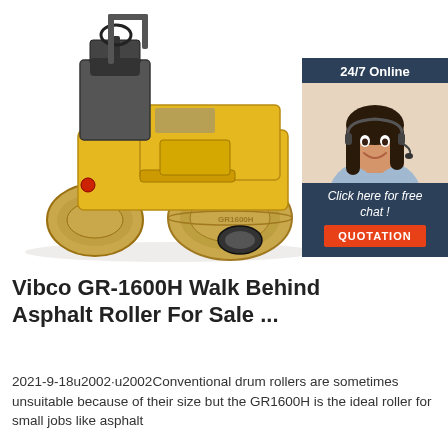[Figure (photo): Yellow Vibco GR-1600H walk-behind asphalt roller (double drum compactor) on white background, viewed from the left/front side. The machine is yellow with gray/black accents and rubber tires visible behind the drums.]
[Figure (infographic): Chat widget overlay in dark navy blue background showing '24/7 Online' text, a photo of a smiling woman with a headset, italic text 'Click here for free chat !', and an orange button labeled 'QUOTATION'.]
Vibco GR-1600H Walk Behind Asphalt Roller For Sale ...
2021-9-18u2002·u2002Conventional drum rollers are sometimes unsuitable because of their size but the GR1600H is the ideal roller for small jobs like asphalt